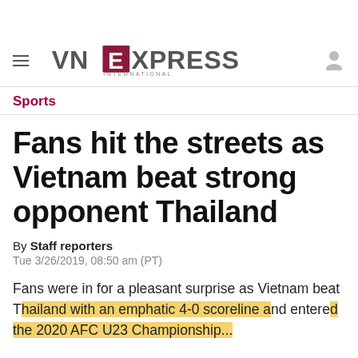VNExpress International
Sports
Fans hit the streets as Vietnam beat strong opponent Thailand
By Staff reporters
Tue 3/26/2019, 08:50 am (PT)
Fans were in for a pleasant surprise as Vietnam beat Thailand with an emphatic 4-0 scoreline and entered the 2020 AFC U23 Championship...